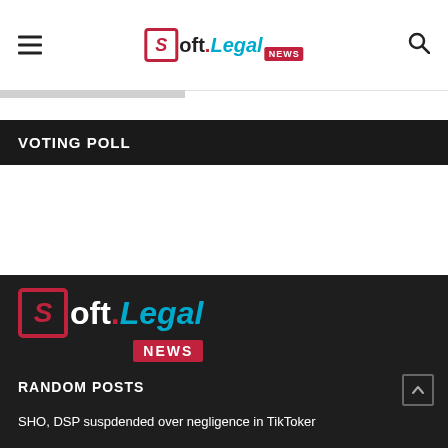Soft.Legal NEWS
VOTING POLL
[Figure (logo): Soft.Legal NEWS logo in footer, large version on dark background]
RANDOM POSTS
SHO, DSP suspdended over negligence in TikToker